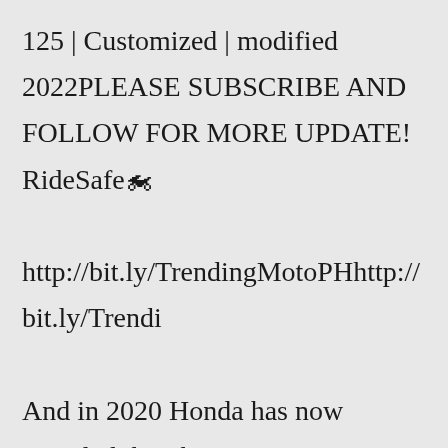125 | Customized | modified 2022PLEASE SUBSCRIBE AND FOLLOW FOR MORE UPDATE! RideSafe🏍 http://bit.ly/TrendingMotoPHhttp://bit.ly/Trendi And in 2020 Honda has now revealed that the concept is entering production for the 2021 model year as the Honda Trail 125 , or the Honda Hunter Cub 125 in non-US markets. The CT125 engine is an air-cooled four-stroke overhead cam 124cc Single with